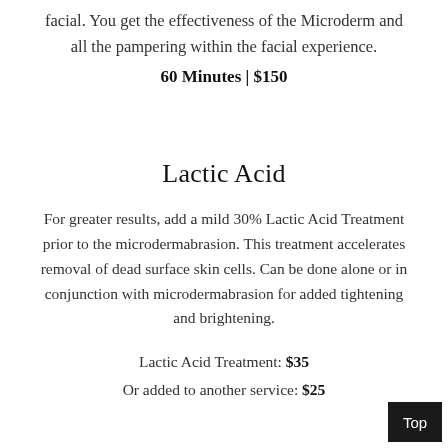facial. You get the effectiveness of the Microderm and all the pampering within the facial experience.
60 Minutes | $150
Lactic Acid
For greater results, add a mild 30% Lactic Acid Treatment prior to the microdermabrasion. This treatment accelerates removal of dead surface skin cells. Can be done alone or in conjunction with microdermabrasion for added tightening and brightening.
Lactic Acid Treatment: $35
Or added to another service: $25